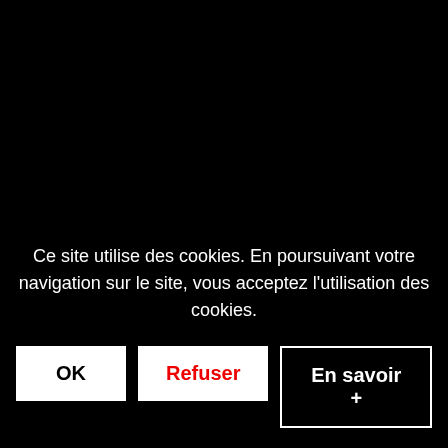Ce site utilise des cookies. En poursuivant votre navigation sur le site, vous acceptez l'utilisation des cookies.
OK
Refuser
En savoir +